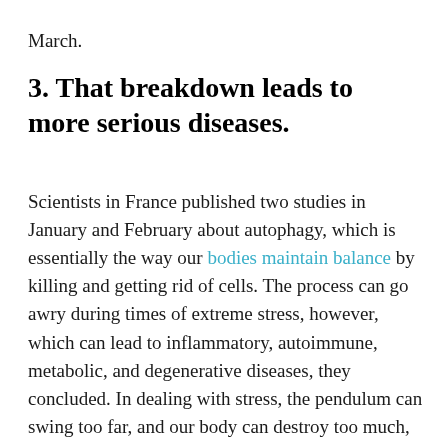March.
3. That breakdown leads to more serious diseases.
Scientists in France published two studies in January and February about autophagy, which is essentially the way our bodies maintain balance by killing and getting rid of cells. The process can go awry during times of extreme stress, however, which can lead to inflammatory, autoimmune, metabolic, and degenerative diseases, they concluded. In dealing with stress, the pendulum can swing too far, and our body can destroy too much, which can lead to cancer, diabetes, obesity, heart disease and brain disease. One group reviewed recent research about how this happens with leukemia in particular, and the other group looked at the